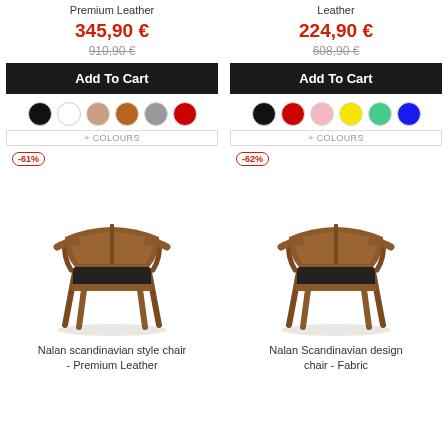Premium Leather
Leather
345,90 €
910,90 €
224,90 €
608,90 €
Add To Cart
Add To Cart
+ COLOURS
+ COLOURS
-61%
[Figure (photo): Scandinavian style wooden armchair with black seat - Premium Leather]
-62%
[Figure (photo): Scandinavian design wooden armchair with black seat - Fabric]
Nalan scandinavian style chair - Premium Leather
Nalan Scandinavian design chair - Fabric